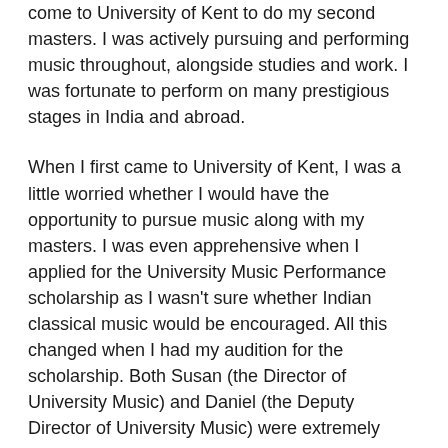come to University of Kent to do my second masters. I was actively pursuing and performing music throughout, alongside studies and work. I was fortunate to perform on many prestigious stages in India and abroad.
When I first came to University of Kent, I was a little worried whether I would have the opportunity to pursue music along with my masters. I was even apprehensive when I applied for the University Music Performance scholarship as I wasn't sure whether Indian classical music would be encouraged. All this changed when I had my audition for the scholarship. Both Susan (the Director of University Music) and Daniel (the Deputy Director of University Music) were extremely welcoming and encouraging of Indian classical music. When I got to know that I was selected for the scholarship, I was very thrilled and delighted beyond words.
When I first stepped into the Colyer-Fergusson hall, I was amazed at the splendor, grandeur and acoustics of the hall. I